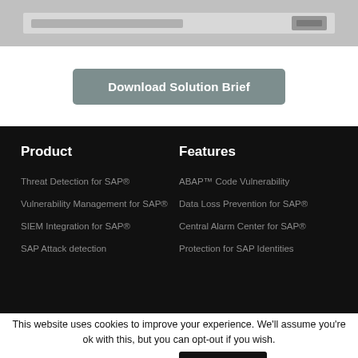[Figure (screenshot): Partial screenshot of a web interface showing a bar or header element with text and a button, cropped at top of page]
Download Solution Brief
Product
Features
Threat Detection for SAP®
Vulnerability Management for SAP®
SIEM Integration for SAP®
SAP Attack detection
ABAP™ Code Vulnerability
Data Loss Prevention for SAP®
Central Alarm Center for SAP®
Protection for SAP Identities
This website uses cookies to improve your experience. We'll assume you're ok with this, but you can opt-out if you wish.
Cookie settings
ACCEPT